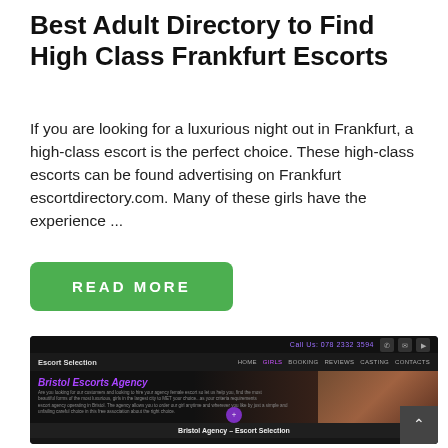Best Adult Directory to Find High Class Frankfurt Escorts
If you are looking for a luxurious night out in Frankfurt, a high-class escort is the perfect choice. These high-class escorts can be found advertising on Frankfurt escortdirectory.com. Many of these girls have the experience ...
READ MORE
[Figure (screenshot): Screenshot of escort agency website 'Escort Selection' showing Bristol Escorts Agency page with dark theme, purple branding, navigation links (Home, Girls, Booking, Reviews, Casting, Contacts), a heroic image, agency subtitle 'Bristol Agency – Escort Selection', filter dropdowns, and a scroll-to-top button.]